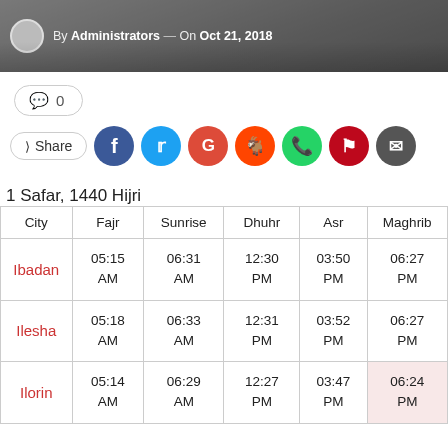[Figure (photo): Header image showing a crowd, with text 'By Administrators — On Oct 21, 2018']
💬 0
Share (Facebook, Twitter, Google+, Reddit, WhatsApp, Pinterest, Email social icons)
1 Safar, 1440 Hijri
| City | Fajr | Sunrise | Dhuhr | Asr | Maghrib |
| --- | --- | --- | --- | --- | --- |
| Ibadan | 05:15 AM | 06:31 AM | 12:30 PM | 03:50 PM | 06:27 PM |
| Ilesha | 05:18 AM | 06:33 AM | 12:31 PM | 03:52 PM | 06:27 PM |
| Ilorin | 05:14 AM | 06:29 AM | 12:27 PM | 03:47 PM | 06:24 PM |